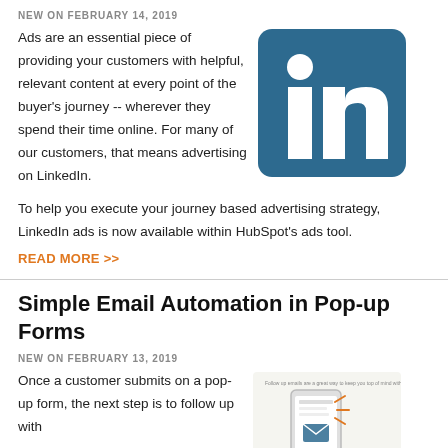NEW ON FEBRUARY 14, 2019
Ads are an essential piece of providing your customers with helpful, relevant content at every point of the buyer's journey -- wherever they spend their time online. For many of our customers, that means advertising on LinkedIn.
[Figure (logo): LinkedIn logo — white 'in' lettering on teal/dark-blue rounded-square background]
To help you execute your journey based advertising strategy, LinkedIn ads is now available within HubSpot's ads tool.
READ MORE >>
Simple Email Automation in Pop-up Forms
NEW ON FEBRUARY 13, 2019
Once a customer submits on a pop-up form, the next step is to follow up with
[Figure (illustration): Smartphone with notification/email icons, partial illustration of a follow-up email workflow]